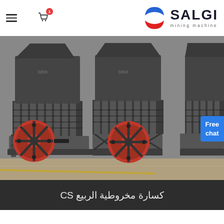SALGI mining machine — navigation header with hamburger menu, cart icon, and logo
[Figure (photo): Two large CS spring cone crushers (industrial mining machines) in a factory or warehouse setting. The machines are dark grey/black with prominent red flywheel pulleys, coil springs, and the SBM brand visible. A person is partially visible at the right edge.]
Free chat
كسارة مخروطية الربيع CS